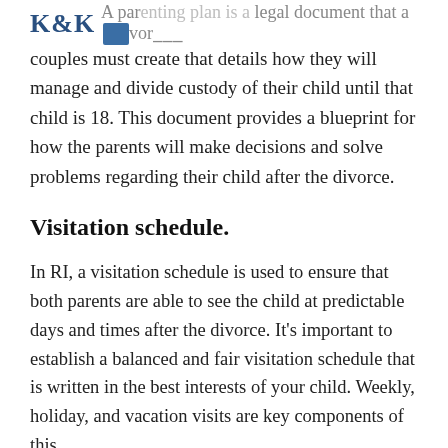K&K | A parenting plan is a legal document that a divorcing
couples must create that details how they will manage and divide custody of their child until that child is 18. This document provides a blueprint for how the parents will make decisions and solve problems regarding their child after the divorce.
Visitation schedule.
In RI, a visitation schedule is used to ensure that both parents are able to see the child at predictable days and times after the divorce. It's important to establish a balanced and fair visitation schedule that is written in the best interests of your child. Weekly, holiday, and vacation visits are key components of this